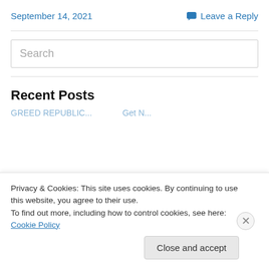September 14, 2021
💬 Leave a Reply
Search
Recent Posts
GREED REPUBLIC... (partially visible link)
Privacy & Cookies: This site uses cookies. By continuing to use this website, you agree to their use.
To find out more, including how to control cookies, see here: Cookie Policy
Close and accept